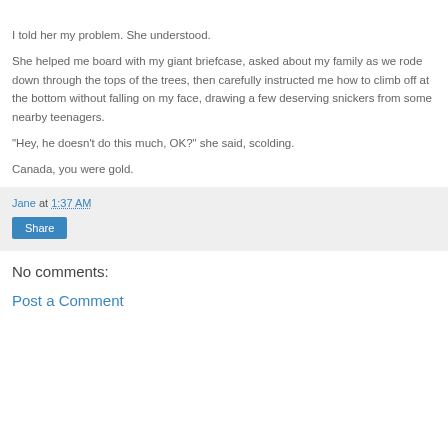I told her my problem. She understood.
She helped me board with my giant briefcase, asked about my family as we rode down through the tops of the trees, then carefully instructed me how to climb off at the bottom without falling on my face, drawing a few deserving snickers from some nearby teenagers.
"Hey, he doesn't do this much, OK?" she said, scolding.
Canada, you were gold.
Jane at 1:37 AM
Share
No comments:
Post a Comment